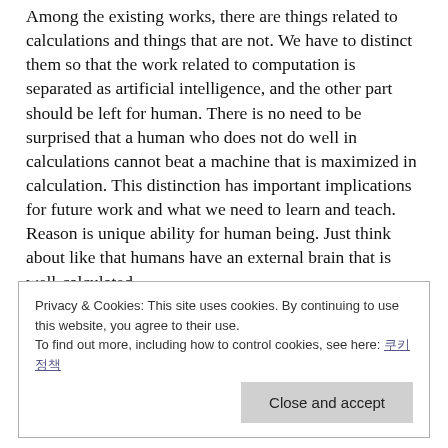Among the existing works, there are things related to calculations and things that are not. We have to distinct them so that the work related to computation is separated as artificial intelligence, and the other part should be left for human. There is no need to be surprised that a human who does not do well in calculations cannot beat a machine that is maximized in calculation. This distinction has important implications for future work and what we need to learn and teach. Reason is unique ability for human being. Just think about like that humans have an external brain that is well-calculated.
Privacy & Cookies: This site uses cookies. By continuing to use this website, you agree to their use. To find out more, including how to control cookies, see here: 쿠키 정책